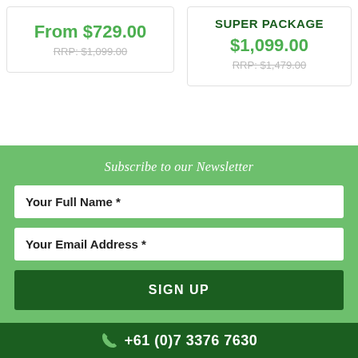From $729.00
RRP: $1,099.00
SUPER PACKAGE
$1,099.00
RRP: $1,479.00
Subscribe to our Newsletter
Your Full Name *
Your Email Address *
SIGN UP
+61 (0)7 3376 7630